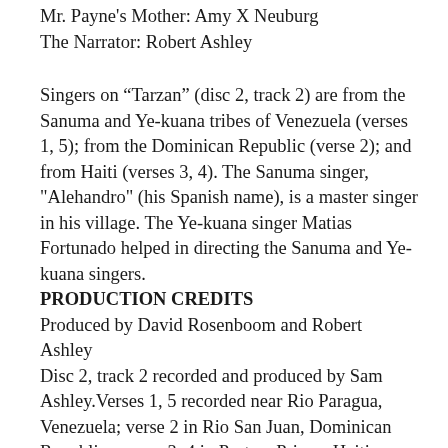Mr. Payne's Mother: Amy X Neuburg
The Narrator: Robert Ashley
Singers on “Tarzan” (disc 2, track 2) are from the Sanuma and Ye-kuana tribes of Venezuela (verses 1, 5); from the Dominican Republic (verse 2); and from Haiti (verses 3, 4). The Sanuma singer, "Alehandro" (his Spanish name), is a master singer in his village. The Ye-kuana singer Matias Fortunado helped in directing the Sanuma and Ye-kuana singers.
PRODUCTION CREDITS
Produced by David Rosenboom and Robert Ashley
Disc 2, track 2 recorded and produced by Sam Ashley.Verses 1, 5 recorded near Rio Paragua, Venezuela; verse 2 in Rio San Juan, Dominican Republic; verses 3, 4 in Port au Prince, Haiti
All other voices recorded by Tom Erbe at the Center for Contemporary Music, Mills College, Oakland,